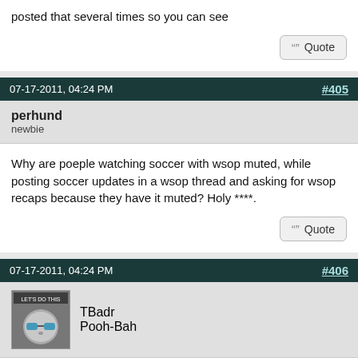posted that several times so you can see
07-17-2011, 04:24 PM  #405
perhund
newbie
Why are poeple watching soccer with wsop muted, while posting soccer updates in a wsop thread and asking for wsop recaps because they have it muted? Holy ****.
07-17-2011, 04:24 PM  #406
TBadr
Pooh-Bah
Quote: